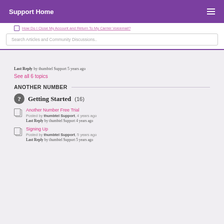Support Home
How Do I Close My Account and Return To My Carrier Voicemail?
Search Articles and Community Discussions..
Last Reply by thumbtel Support 5 years ago
See all 6 topics
ANOTHER NUMBER
Getting Started (16)
Another Number Free Trial
Posted by thumbtel Support, 4 years ago
Last Reply by thumbtel Support 4 years ago
Signing Up
Posted by thumbtel Support, 5 years ago
Last Reply by thumbtel Support 5 years ago